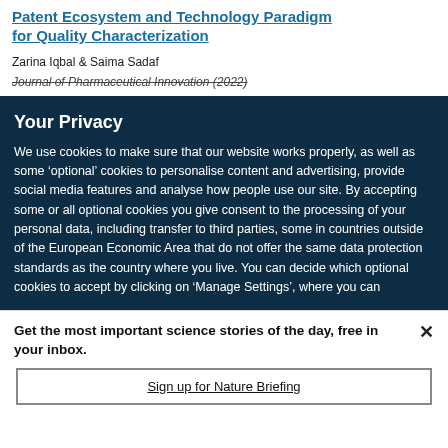Patent Ecosystem and Technology Paradigm for Quality Characterization
Zarina Iqbal & Saima Sadaf
Journal of Pharmaceutical Innovation (2022)
Your Privacy
We use cookies to make sure that our website works properly, as well as some ‘optional’ cookies to personalise content and advertising, provide social media features and analyse how people use our site. By accepting some or all optional cookies you give consent to the processing of your personal data, including transfer to third parties, some in countries outside of the European Economic Area that do not offer the same data protection standards as the country where you live. You can decide which optional cookies to accept by clicking on ‘Manage Settings’, where you can
Get the most important science stories of the day, free in your inbox.
Sign up for Nature Briefing